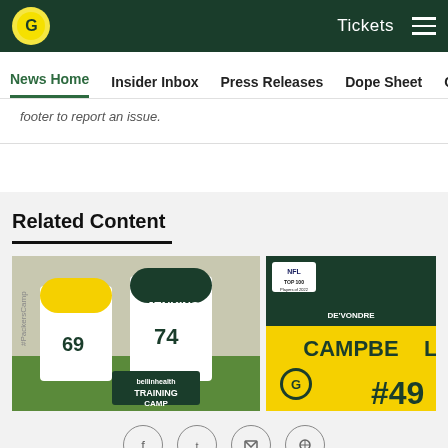Green Bay Packers website header with logo, Tickets link, and hamburger menu
News Home | Insider Inbox | Press Releases | Dope Sheet | Game
footer to report an issue.
Related Content
[Figure (photo): Green Bay Packers players #69 and #74 Jenkins at training camp in white uniforms with gold helmets. Bellin Health Training Camp logo visible.]
[Figure (photo): NFL Top 100 Players of 2022 graphic featuring De'Vondre Campbell #49 with Green Bay Packers logo on gold background.]